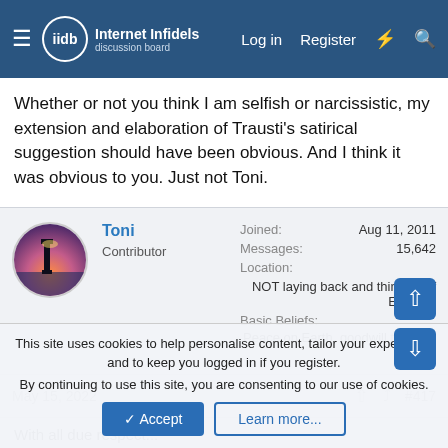Internet Infidels — Log in   Register
Whether or not you think I am selfish or narcissistic, my extension and elaboration of Trausti's satirical suggestion should have been obvious. And I think it was obvious to you. Just not Toni.
Toni
Contributor
Joined: Aug 11, 2011
Messages: 15,642
Location: NOT laying back and thinking of England
Basic Beliefs: Peace on Earth, goodwill towards all
May 15, 2022   #417
With all due respect...
This site uses cookies to help personalise content, tailor your experience and to keep you logged in if you register.
By continuing to use this site, you are consenting to our use of cookies.